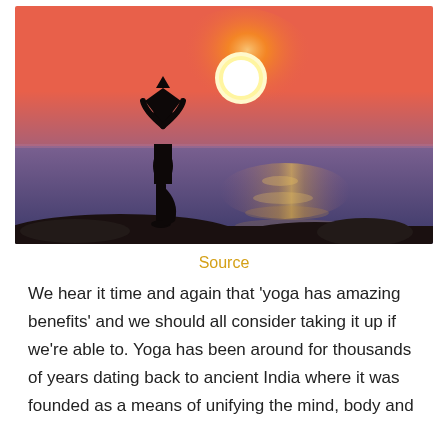[Figure (photo): Silhouette of a person doing a yoga tree pose on rocks at sunset by the ocean, with a large orange sun and pink-orange sky in the background and dark blue water.]
Source
We hear it time and again that 'yoga has amazing benefits' and we should all consider taking it up if we're able to. Yoga has been around for thousands of years dating back to ancient India where it was founded as a means of unifying the mind, body and